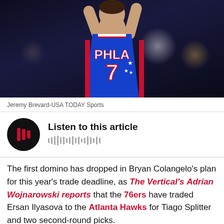[Figure (photo): Basketball player wearing Philadelphia 76ers blue jersey number 7 (PHLA) with arms raised, dark background]
Jeremy Brevard-USA TODAY Sports
[Figure (infographic): Audio player widget with play button and sound wave bars, with text 'Listen to this article']
The first domino has dropped in Bryan Colangelo's plan for this year's trade deadline, as The Vertical's Adrian Wojnarowski reports that the 76ers have traded Ersan Ilyasova to the Atlanta Hawks for Tiago Splitter and two second-round picks.